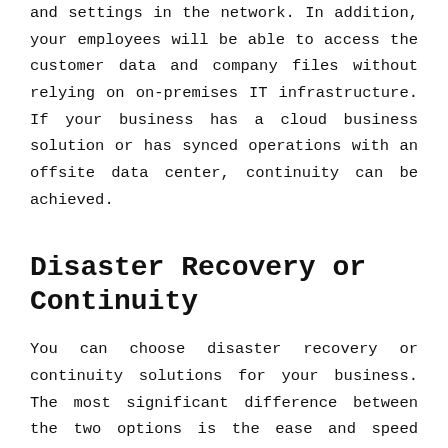and settings in the network. In addition, your employees will be able to access the customer data and company files without relying on on-premises IT infrastructure. If your business has a cloud business solution or has synced operations with an offsite data center, continuity can be achieved.
Disaster Recovery or Continuity
You can choose disaster recovery or continuity solutions for your business. The most significant difference between the two options is the ease and speed with which you can resume operations. Continuity solutions ensure that there is minimal downtime between data loss and normal operations. However, the cost of setting up disaster recovery solutions may be lower.
If you would like to learn more about backup, disaster